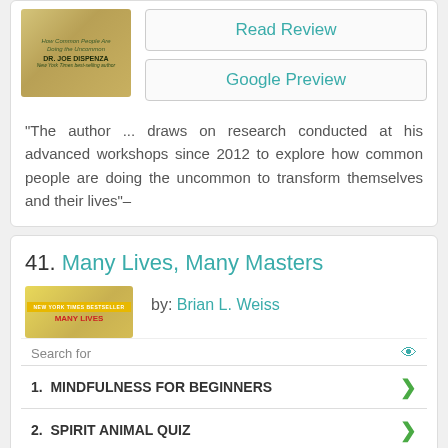[Figure (illustration): Book cover thumbnail for Dr. Joe Dispenza with golden/tan cover colors and author name]
Read Review
Google Preview
"The author ... draws on research conducted at his advanced workshops since 2012 to explore how common people are doing the uncommon to transform themselves and their lives"–
41. Many Lives, Many Masters
[Figure (illustration): Book cover thumbnail showing New York Times Bestseller badge in yellow, with title Many Lives in red text]
by: Brian L. Weiss
Search for
1.  MINDFULNESS FOR BEGINNERS
2.  SPIRIT ANIMAL QUIZ
Ad | Business Focus